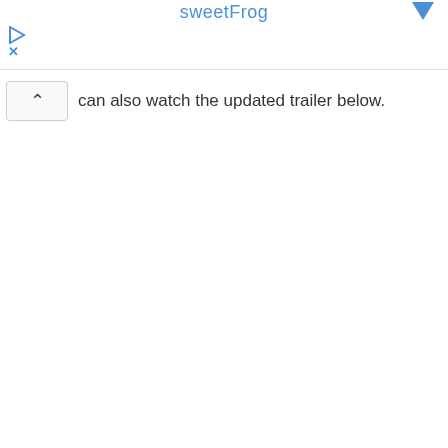sweetFrog
can also watch the updated trailer below.